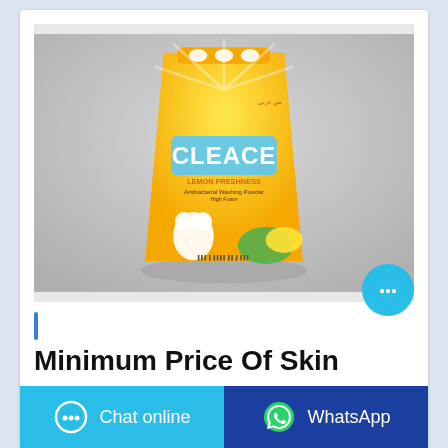[Figure (photo): Yellow bag of CLEACE Lemon Freshness washing powder/laundry detergent on a grey background]
Minimum Price Of Skin
Chat online
WhatsApp